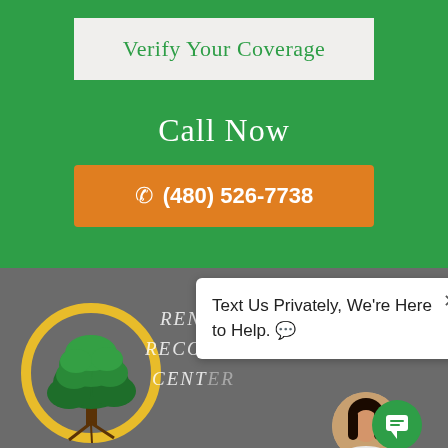Verify Your Coverage
Call Now
(480) 526-7738
[Figure (logo): Renaissance Recovery Center logo: green tree inside a yellow circle, with text 'Renaissance Recovery Center']
Text Us Privately, We're Here to Help. 💬